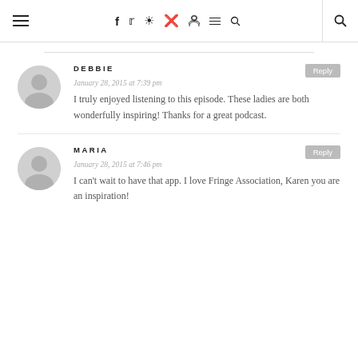Navigation header with hamburger menu, social icons (f, twitter, instagram, pinterest, rss), and search icon
DEBBIE
January 28, 2015 at 7:39 pm
I truly enjoyed listening to this episode. These ladies are both wonderfully inspiring! Thanks for a great podcast.
MARIA
January 28, 2015 at 7:46 pm
I can't wait to have that app. I love Fringe Association, Karen you are an inspiration!